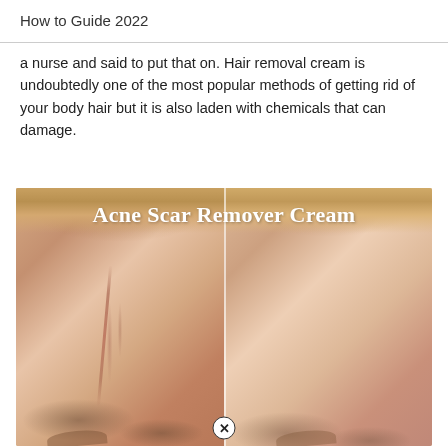How to Guide 2022
a nurse and said to put that on. Hair removal cream is undoubtedly one of the most popular methods of getting rid of your body hair but it is also laden with chemicals that can damage.
[Figure (photo): Before and after comparison photo showing acne scar treatment on a woman's forehead. Left panel shows visible scar/redness, right panel shows clearer skin. Text overlay reads 'Acne Scar Remover Cream'. A close/X button appears at the bottom center.]